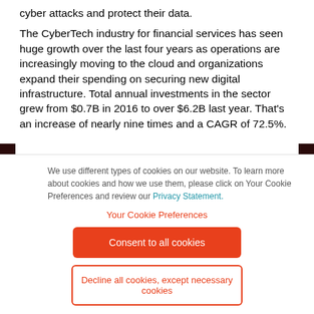cyber attacks and protect their data.
The CyberTech industry for financial services has seen huge growth over the last four years as operations are increasingly moving to the cloud and organizations expand their spending on securing new digital infrastructure. Total annual investments in the sector grew from $0.7B in 2016 to over $6.2B last year. That's an increase of nearly nine times and a CAGR of 72.5%.
We use different types of cookies on our website. To learn more about cookies and how we use them, please click on Your Cookie Preferences and review our Privacy Statement.
Your Cookie Preferences
Consent to all cookies
Decline all cookies, except necessary cookies